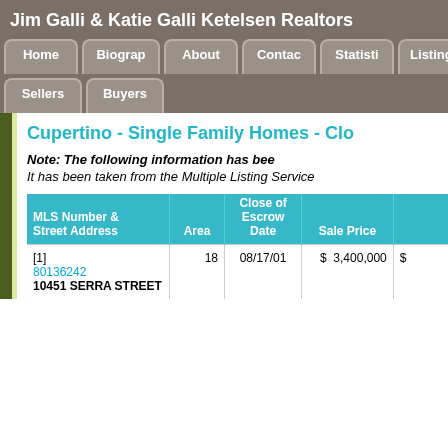Jim Galli & Katie Galli Ketelsen Realtors
Home
Biography
About
Contact
Statistics
Listings
Sellers
Buyers
Cupertino - Single Family Homes - Clo...
Note:  The following information has been...
It has been taken from the Multiple Listing Service...
| MLS Number & Street Address | Area | Close of Escrow Date | Sale Price |
| --- | --- | --- | --- |
| [1]
80136242
10451 SERRA STREET | 18 | 08/17/01 | $ 3,400,000 | $ |